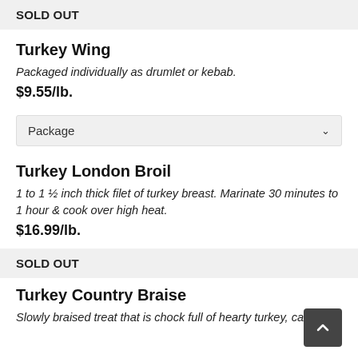SOLD OUT
Turkey Wing
Packaged individually as drumlet or kebab.
$9.55/lb.
Package
Turkey London Broil
1 to 1 ½ inch thick filet of turkey breast. Marinate 30 minutes to 1 hour & cook over high heat.
$16.99/lb.
SOLD OUT
Turkey Country Braise
Slowly braised treat that is chock full of hearty turkey, carrots,